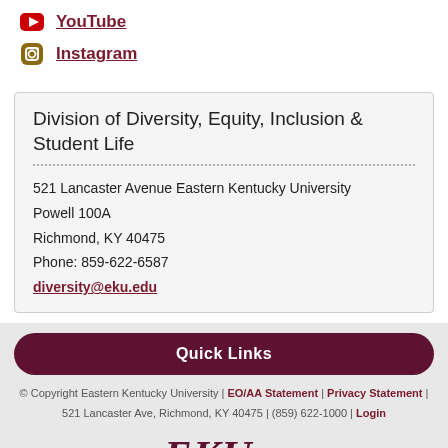YouTube
Instagram
Division of Diversity, Equity, Inclusion & Student Life
521 Lancaster Avenue Eastern Kentucky University
Powell 100A
Richmond, KY 40475
Phone: 859-622-6587
diversity@eku.edu
Quick Links
© Copyright Eastern Kentucky University | EO/AA Statement | Privacy Statement | 521 Lancaster Ave, Richmond, KY 40475 | (859) 622-1000 | Login
[Figure (logo): EKU logo in dark maroon/burgundy italic serif lettering with underline]